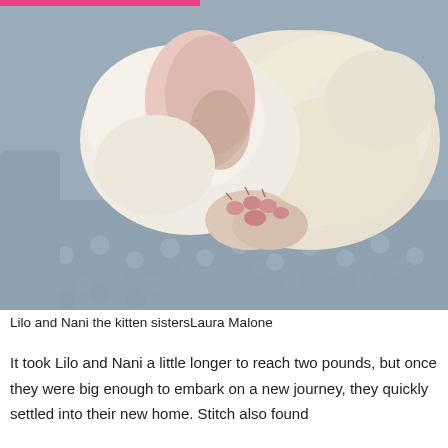[Figure (photo): Two newborn kittens, mostly white/cream colored, curled up together sleeping on a textured grey blanket. One kitten's pink paw pads are visible in the foreground.]
Lilo and Nani the kitten sistersLaura Malone
It took Lilo and Nani a little longer to reach two pounds, but once they were big enough to embark on a new journey, they quickly settled into their new home. Stitch also found